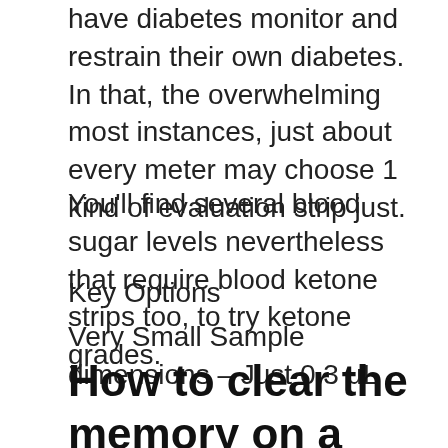have diabetes monitor and restrain their own diabetes. In that, the overwhelming most instances, just about every meter may choose 1 kind of evaluation strip just.
You'll find several blood sugar levels nevertheless that require blood ketone strips too, to try ketone grades.
Key Options
Very Small Sample dimensions – Just 0.3 μL
How to clear the memory on a freestyle lite glucose meter